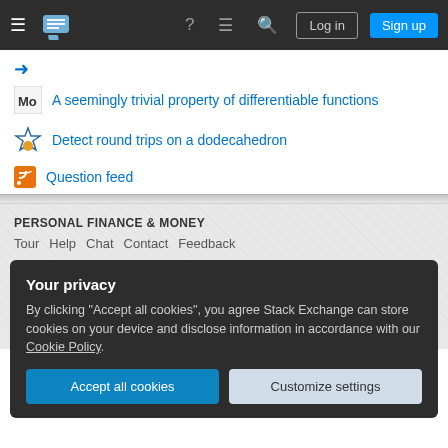Navigation bar with hamburger menu, Stack Exchange logo, help, chat, search icons, Log in and Sign up buttons
A seemingly trivial property of differentiable functions
Detect round trips on a dodecahedron
Question feed
PERSONAL FINANCE & MONEY
Tour  Help  Chat  Contact  Feedback
COMPANY
Stack Overflow  Teams  Advertising  Collectives  Talent  About  Press
Your privacy
By clicking "Accept all cookies", you agree Stack Exchange can store cookies on your device and disclose information in accordance with our Cookie Policy.
Accept all cookies  Customize settings
Blog  Facebook  Twitter  LinkedIn  Instagram